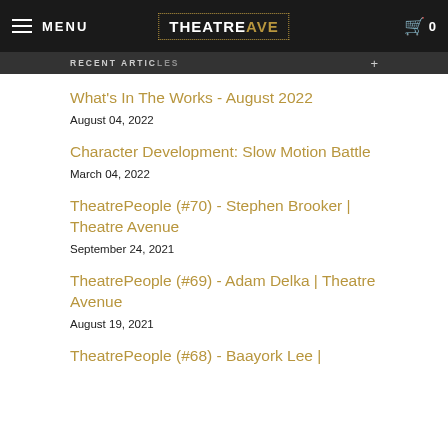MENU | THEATRE AVE | 0
RECENT ARTICLES +
What's In The Works - August 2022
August 04, 2022
Character Development: Slow Motion Battle
March 04, 2022
TheatrePeople (#70) - Stephen Brooker | Theatre Avenue
September 24, 2021
TheatrePeople (#69) - Adam Delka | Theatre Avenue
August 19, 2021
TheatrePeople (#68) - Baayork Lee |